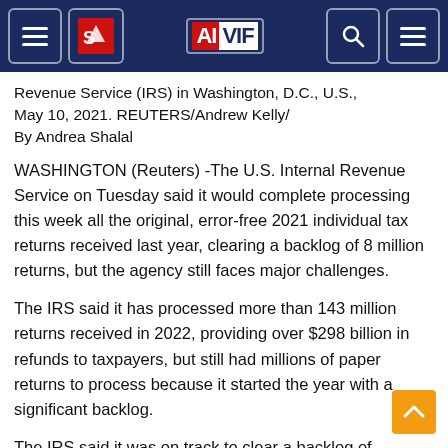AIVIF navigation header
Revenue Service (IRS) in Washington, D.C., U.S., May 10, 2021. REUTERS/Andrew Kelly/
By Andrea Shalal
WASHINGTON (Reuters) -The U.S. Internal Revenue Service on Tuesday said it would complete processing this week all the original, error-free 2021 individual tax returns received last year, clearing a backlog of 8 million returns, but the agency still faces major challenges.
The IRS said it has processed more than 143 million returns received in 2022, providing over $298 billion in refunds to taxpayers, but still had millions of paper returns to process because it started the year with a significant backlog.
The IRS said it was on track to clear a backlog of